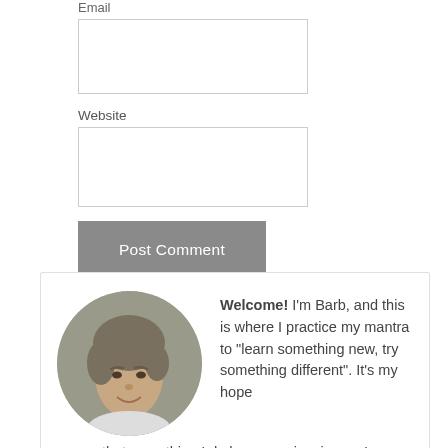Email
[Figure (other): Email input text field (empty form field)]
Website
[Figure (other): Website input text field (empty form field)]
Post Comment
[Figure (photo): Circular portrait photo of a woman with short gray hair, smiling]
Welcome! I'm Barb, and this is where I practice my mantra to "learn something new, try something different". It's my hope that something I do here may inspire you!